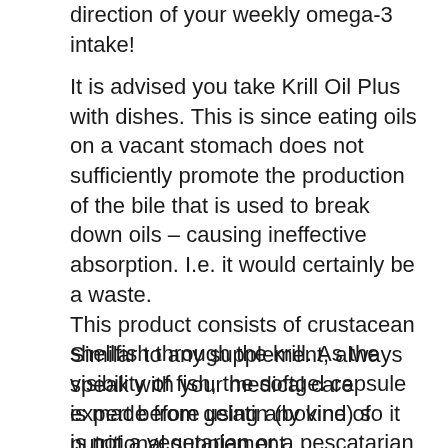direction of your weekly omega-3 intake!
It is advised you take Krill Oil Plus with dishes. This is since eating oils on a vacant stomach does not sufficiently promote the production of the bile that is used to break down oils – causing ineffective absorption. I.e. it would certainly be a waste. This product consists of crustacean shellfish through the krill. As the visibility of fish, the softgel capsule is made from gelatin (bovine) so it is not a vegetarian or a pescatarian item.
Similar to any supplement, always speak with your medical care expert before using any kind of nutritional supplement.